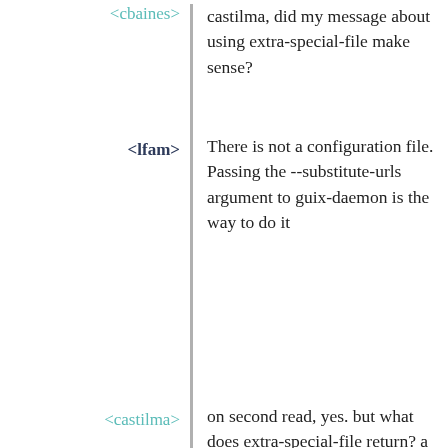<cbaines> castilma, did my message about using extra-special-file make sense?
<lfam> There is not a configuration file. Passing the --substitute-urls argument to guix-daemon is the way to do it
<castilma> on second read, yes. but what does extra-special-file return? a service?
<cbaines> yep
<castilma> and should I really use